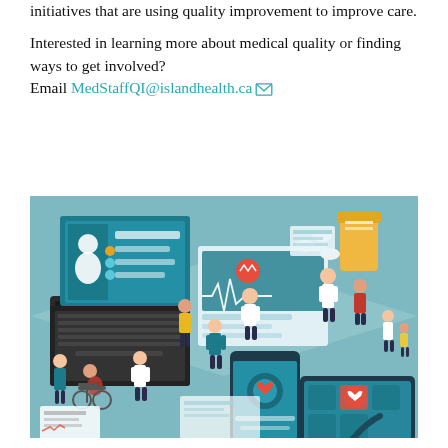initiatives that are using quality improvement to improve care.
Interested in learning more about medical quality or finding ways to get involved? Email MedStaffQI@islandhealth.ca
[Figure (illustration): Isometric illustration of a digital healthcare scene featuring medical professionals, patients (including one in a wheelchair), digital devices (laptop, smartphone, tablet), medical records screens displaying patient data and heart monitor readings, a stethoscope, and a prescription pill bottle, all set against a teal/blue-grey background.]